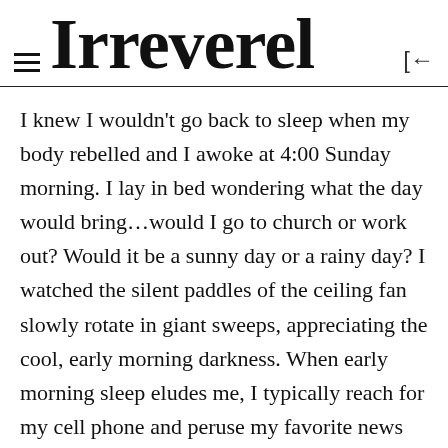Irreverel
I knew I wouldn't go back to sleep when my body rebelled and I awoke at 4:00 Sunday morning. I lay in bed wondering what the day would bring...would I go to church or work out? Would it be a sunny day or a rainy day? I watched the silent paddles of the ceiling fan slowly rotate in giant sweeps, appreciating the cool, early morning darkness. When early morning sleep eludes me, I typically reach for my cell phone and peruse my favorite news outlets, NYT, BBC and CNN. This Sunday was no different until I glanced at all the screaming banners